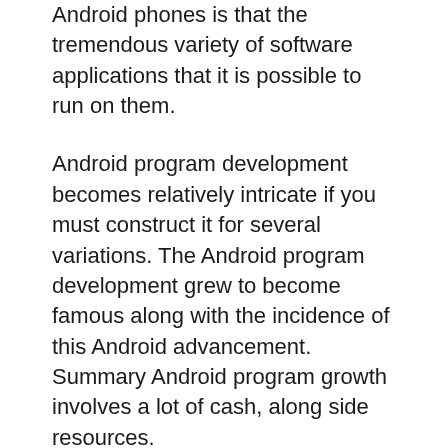Android phones is that the tremendous variety of software applications that it is possible to run on them.
Android program development becomes relatively intricate if you must construct it for several variations. The Android program development grew to become famous along with the incidence of this Android advancement. Summary Android program growth involves a lot of cash, along side resources.
Android program development has changed into quite a lucrative industry for little and medium small business proprietors together with separate developers to get good money with low-expenditure, at the